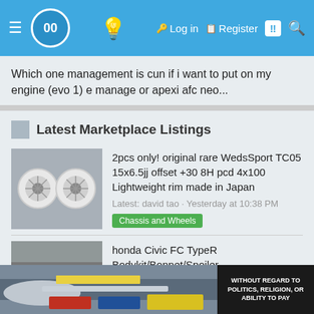Header navigation bar with logo, lightbulb icon, Log in, Register, notification, and search icons
Which one management is cun if i want to put on my engine (evo 1) e manage or apexi afc neo...
Latest Marketplace Listings
[Figure (photo): Two white WedsSport TC05 alloy wheels]
2pcs only! original rare WedsSport TC05 15x6.5jj offset +30 8H pcd 4x100 Lightweight rim made in Japan
Latest: david tao · Yesterday at 10:38 PM
Chassis and Wheels
[Figure (photo): Honda Civic FC body part with green sticker visible]
honda Civic FC TypeR Bodykit/Bonnet/Spoiler
Latest: jeff6126 · Yesterday at 3:19 PM
Exterior and Body
[Figure (photo): Advertisement banner showing an airplane being loaded with cargo, with text WITHOUT REGARD TO POLITICS, RELIGION, OR ABILITY TO PAY]